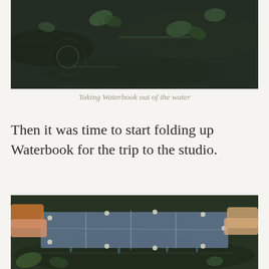[Figure (photo): Dark water surface with floating leaves and ripples, partial view of Waterbook being lifted out]
Taking Waterbook out of the water
Then it was time to start folding up Waterbook for the trip to the studio.
[Figure (photo): Two people holding a large folded transparent Waterbook over water, with floating leaves visible below]